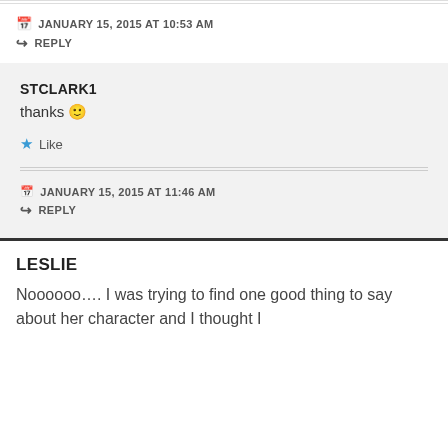JANUARY 15, 2015 AT 10:53 AM
REPLY
STCLARK1
thanks 🙂
Like
JANUARY 15, 2015 AT 11:46 AM
REPLY
LESLIE
Noooooo…. I was trying to find one good thing to say about her character and I thought I